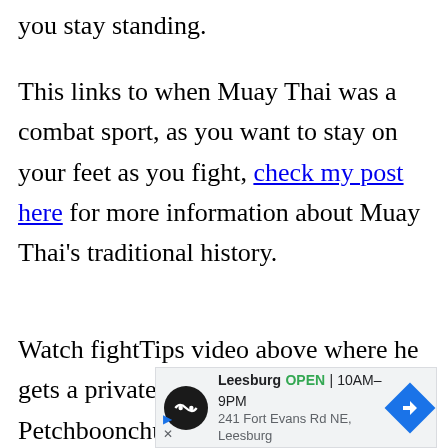you stay standing.
This links to when Muay Thai was a combat sport, as you want to stay on your feet as you fight, check my post here for more information about Muay Thai's traditional history.
Watch fightTips video above where he gets a private lesson from Petchboonchu, the most decorated Muay Thai champion in history
[Figure (other): Advertisement overlay showing a local business: Leesburg, OPEN 10AM-9PM, 241 Fort Evans Rd NE, Leesburg, with navigation icon and business logo]